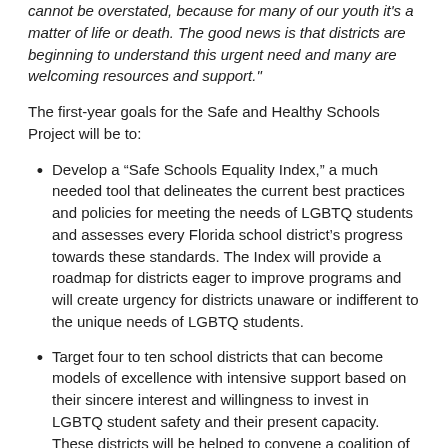cannot be overstated, because for many of our youth it's a matter of life or death. The good news is that districts are beginning to understand this urgent need and many are welcoming resources and support."
The first-year goals for the Safe and Healthy Schools Project will be to:
Develop a “Safe Schools Equality Index,” a much needed tool that delineates the current best practices and policies for meeting the needs of LGBTQ students and assesses every Florida school district’s progress towards these standards. The Index will provide a roadmap for districts eager to improve programs and will create urgency for districts unaware or indifferent to the unique needs of LGBTQ students.
Target four to ten school districts that can become models of excellence with intensive support based on their sincere interest and willingness to invest in LGBTQ student safety and their present capacity. These districts will be helped to convene a coalition of LGBTQ youth serving and mainstream agencies, develop detailed policy and procedural guides, and provide extensive professional development to administrators and staff.
Provide statewide consultancy and support to any district facing crisis or moving proactively to support LGBTQ